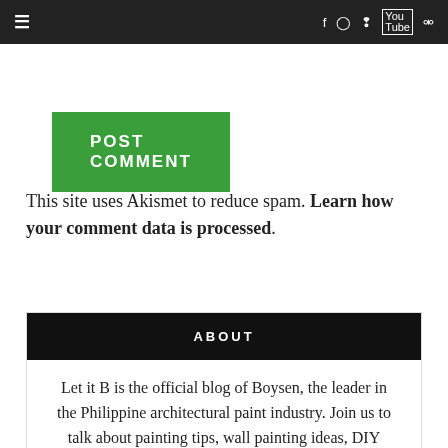≡  f  IG  P  YouTube  🔍
POST COMMENT
This site uses Akismet to reduce spam. Learn how your comment data is processed.
ABOUT
Let it B is the official blog of Boysen, the leader in the Philippine architectural paint industry. Join us to talk about painting tips, wall painting ideas, DIY home improvements, and most of all, the wonderful